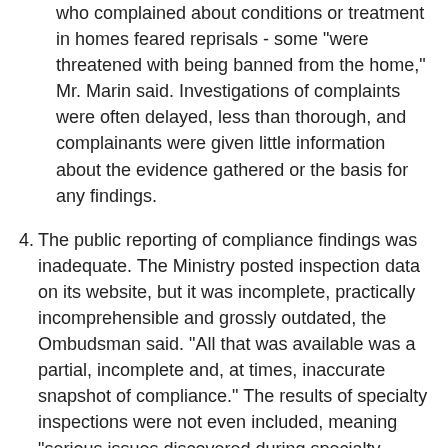who complained about conditions or treatment in homes feared reprisals - some "were threatened with being banned from the home," Mr. Marin said. Investigations of complaints were often delayed, less than thorough, and complainants were given little information about the evidence gathered or the basis for any findings.
4. The public reporting of compliance findings was inadequate. The Ministry posted inspection data on its website, but it was incomplete, practically incomprehensible and grossly outdated, the Ombudsman said. "All that was available was a partial, incomplete and, at times, inaccurate snapshot of compliance." The results of specialty inspections were not even included, meaning "serious issues discovered during specialty reviews remain shielded from public knowledge," he wrote, noting that similar websites in other jurisdictions, such as those in Florida and the U.K., were far superior and more transparent.